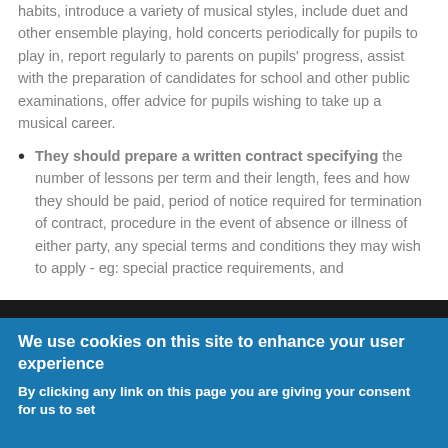habits, introduce a variety of musical styles, include duet and other ensemble playing, hold concerts periodically for pupils to play in, report regularly to parents on pupils' progress, assist with the preparation of candidates for school and other public examinations, offer advice for pupils wishing to take up a musical career.
They should prepare a written contract specifying the number of lessons per term and their length, fees and how they should be paid, period of notice required for termination of contract, procedure in the event of absence or illness of either party, any special terms and conditions they may wish to apply - eg: special practice requirements, and arrangements for the purchase of music and any other equipment needed.
We use cookies on this site to enhance your user experience
By clicking any link on this page you are giving your consent for us to set